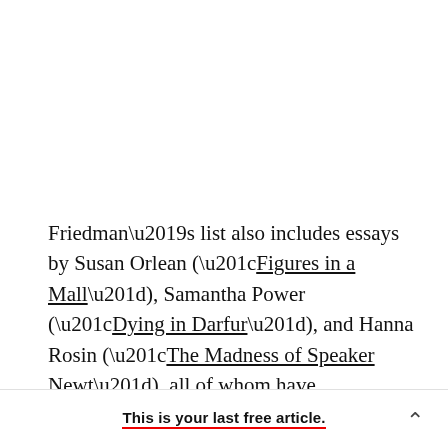Friedman’s list also includes essays by Susan Orlean (“Figures in a Mall”), Samantha Power (“Dying in Darfur”), and Hanna Rosin (“The Madness of Speaker Newt”), all of whom have contributed to The Atlantic as well. For our May 2003 issue, Orlean wrote “Solopreneur Pricing” and…
This is your last free article.